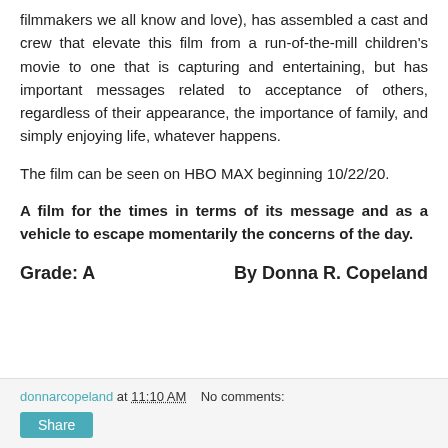filmmakers we all know and love), has assembled a cast and crew that elevate this film from a run-of-the-mill children's movie to one that is capturing and entertaining, but has important messages related to acceptance of others, regardless of their appearance, the importance of family, and simply enjoying life, whatever happens.
The film can be seen on HBO MAX beginning 10/22/20.
A film for the times in terms of its message and as a vehicle to escape momentarily the concerns of the day.
Grade:  A          By Donna R. Copeland
donnarcopeland at 11:10 AM   No comments:   Share